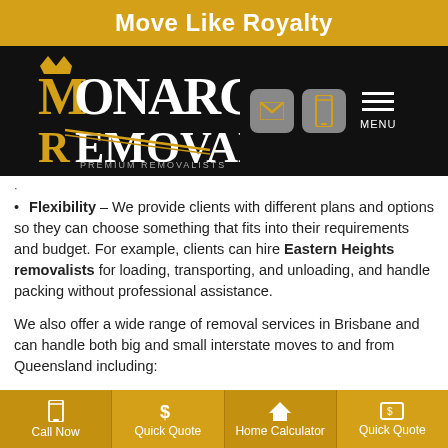Move Like Royalty
[Figure (logo): Monarch Removals Premium Removalists logo on black background with navigation icons and menu]
Flexibility – We provide clients with different plans and options so they can choose something that fits into their requirements and budget. For example, clients can hire Eastern Heights removalists for loading, transporting, and unloading, and handle packing without professional assistance.
We also offer a wide range of removal services in Brisbane and can handle both big and small interstate moves to and from Queensland including:
Call Now | Quick Quote | Home Calculator | Quick Quote